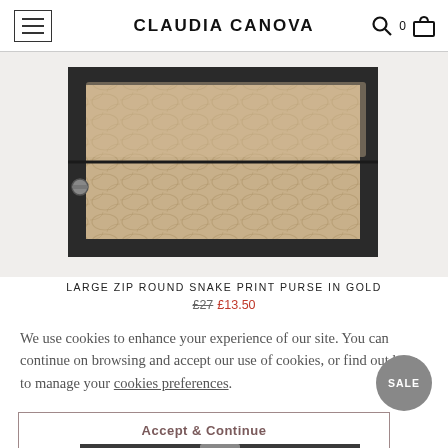CLAUDIA CANOVA
[Figure (photo): A large zip round snake print purse in gold metallic finish with black trim and zipper, partially cropped at top.]
LARGE ZIP ROUND SNAKE PRINT PURSE IN GOLD
£27 £13.50
We use cookies to enhance your experience of our site. You can continue on browsing and accept our use of cookies, or find out how to manage your cookies preferences.
Accept & Continue
[Figure (photo): Bottom portion of a second product (dark clutch/purse), partially visible at the bottom of the page.]